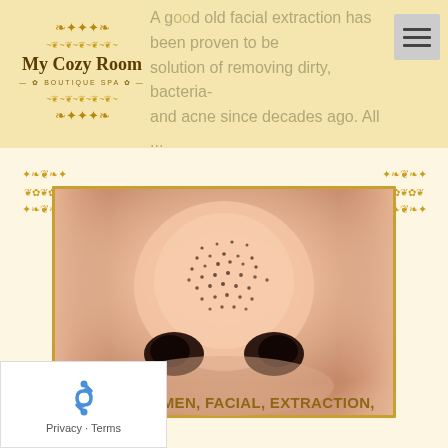A good old facial extraction has been proven to be the solution of removing dirty, bacteria- and acne since decades ago. All ...
[Figure (logo): My Cozy Room Boutique Spa logo with ornamental gold decorative border]
[Figure (photo): Close-up photo of a human nose with visible blackheads/pores on the nose tip]
CARE, BEAUTY, WOMEN, FACIAL, EXTRACTION, PIMPLE, ACNE, MEN